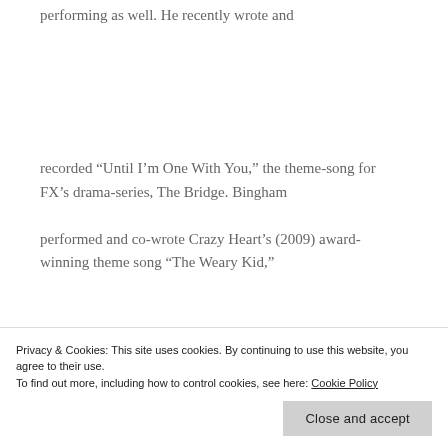performing as well. He recently wrote and
recorded “Until I’m One With You,” the theme-song for FX’s drama-series, The Bridge. Bingham
performed and co-wrote Crazy Heart’s (2009) award-winning theme song “The Weary Kid,”
Privacy & Cookies: This site uses cookies. By continuing to use this website, you agree to their use. To find out more, including how to control cookies, see here: Cookie Policy
Close and accept